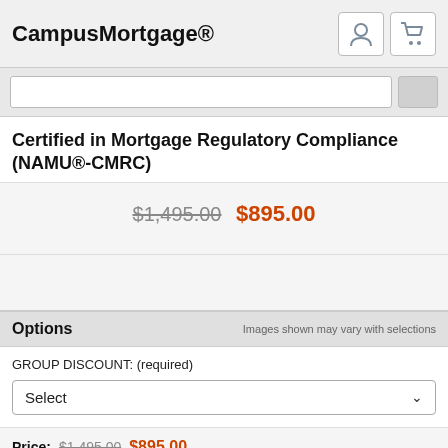CampusMortgage®
Certified in Mortgage Regulatory Compliance (NAMU®-CMRC)
$1,495.00  $895.00
Options
Images shown may vary with selections
GROUP DISCOUNT: (required)
Select
Price:  $1,495.00  $895.00
Qty: